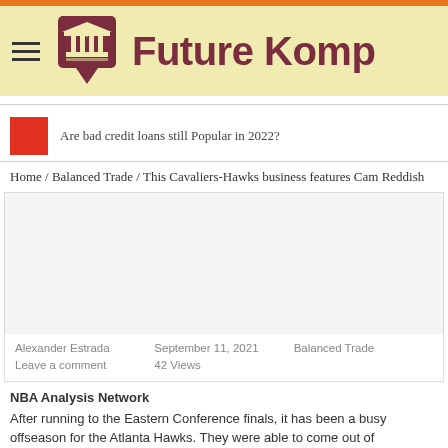Future Komp
Are bad credit loans still Popular in 2022?
Home / Balanced Trade / This Cavaliers-Hawks business features Cam Reddish
[Figure (photo): Article image placeholder (blank/white area)]
Alexander Estrada
Leave a comment
September 11, 2021
42 Views
Balanced Trade
NBA Analysis Network
After running to the Eastern Conference finals, it has been a busy offseason for the Atlanta Hawks. They were able to come out of